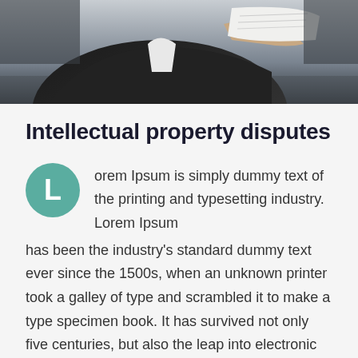[Figure (photo): Photo of a person in a dark suit holding or reading a document, shown from behind/side angle, cropped at upper body]
Intellectual property disputes
Lorem Ipsum is simply dummy text of the printing and typesetting industry. Lorem Ipsum has been the industry's standard dummy text ever since the 1500s, when an unknown printer took a galley of type and scrambled it to make a type specimen book. It has survived not only five centuries, but also the leap into electronic typesetting, remaining essentially unchanged. It was popularised in the 1960s with the release of Letraset sheets containing Lorem Ipsum passages, and more recently with desktop publishing software like